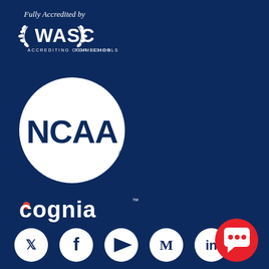[Figure (logo): WASC Accrediting Commission for Schools logo with text 'Fully Accredited by' above it, white on dark blue background]
[Figure (logo): NCAA logo in white circle on dark blue background]
[Figure (logo): Cognia logo in white text on dark blue background]
[Figure (logo): Social media icons: Twitter, Facebook, YouTube, Medium, LinkedIn in white circles, plus a red chat button in bottom right]